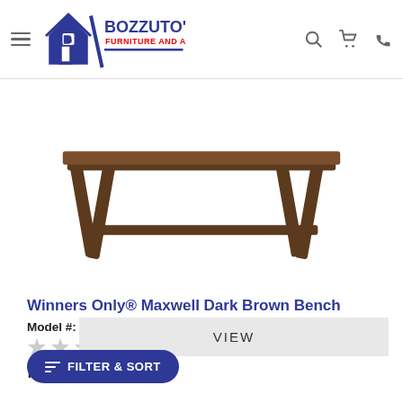Bozzuto's Furniture and Appliance
[Figure (photo): Dark brown wooden bench with A-frame legs and lower stretcher rail, shown from the front against white background]
Winners Only® Maxwell Dark Brown Bench
Model #: DM3455
★★★★★ (0)
Request a Quote
VIEW
COMPARE